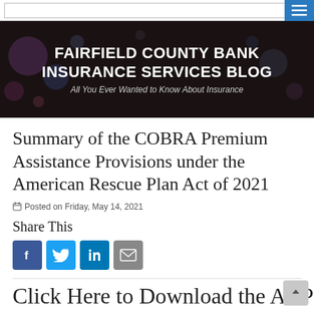Fairfield County Bank Insurance Services Blog — Navigation bar with menu button
[Figure (screenshot): Dark banner with bokeh lights background showing blog title]
FAIRFIELD COUNTY BANK INSURANCE SERVICES BLOG
All You Ever Wanted to Know About Insurance
Summary of the COBRA Premium Assistance Provisions under the American Rescue Plan Act of 2021
Posted on Friday, May 14, 2021
Share This
Social share icons: Facebook, Twitter, LinkedIn, Email
Click Here to Download the ARP...